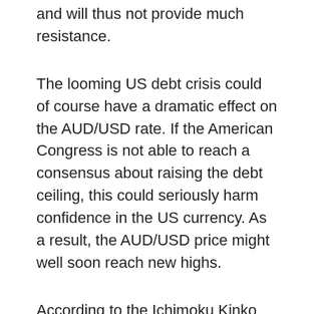and will thus not provide much resistance.
The looming US debt crisis could of course have a dramatic effect on the AUD/USD rate. If the American Congress is not able to reach a consensus about raising the debt ceiling, this could seriously harm confidence in the US currency. As a result, the AUD/USD price might well soon reach new highs.
According to the Ichimoku Kinko Hyo forex analysis, we are clearly seeing a bull run. The price is above the cloud and the green Chinkou Span line is above the price 26 periods ago. In addition, both the Kijun Sen and the Tenkan Sen have also moved out of the cloud in an upwards direction.